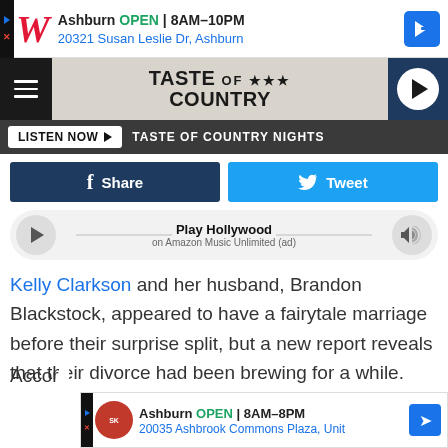[Figure (screenshot): Walgreens advertisement banner: Ashburn OPEN 8AM-10PM, 20321 Susan Leslie Dr, Ashburn with navigation icon]
[Figure (logo): Taste of Country website header with hamburger menu, logo, and play button]
[Figure (screenshot): Listen Now button bar with text TASTE OF COUNTRY NIGHTS]
[Figure (screenshot): Facebook Share and Twitter Tweet social sharing buttons]
[Figure (screenshot): Amazon Music player bar: Play Hollywood on Amazon Music Unlimited (ad)]
Kelly Clarkson and her husband, Brandon Blackstock, appeared to have a fairytale marriage before their surprise split, but a new report reveals that their divorce had been brewing for a while.
Accor... s center...
[Figure (screenshot): Smoothie King advertisement: Ashburn OPEN 8AM-8PM, 20035 Ashbrook Commons Plaza, Unit]